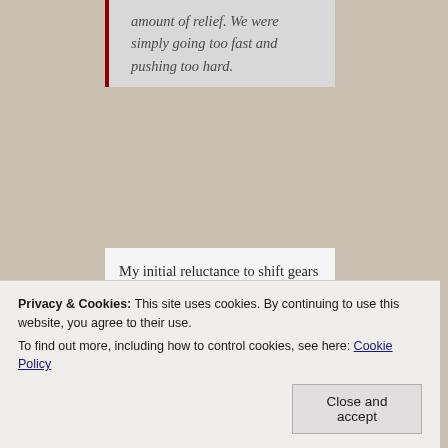amount of relief. We were simply going too fast and pushing too hard.
My initial reluctance to shift gears evolved quickly into acceptance:
The decision not to cross the Pacific was initially a difficult pill for me to swallow. Regardless of my zeal for completing our journey
Privacy & Cookies: This site uses cookies. By continuing to use this website, you agree to their use.
To find out more, including how to control cookies, see here: Cookie Policy
Close and accept